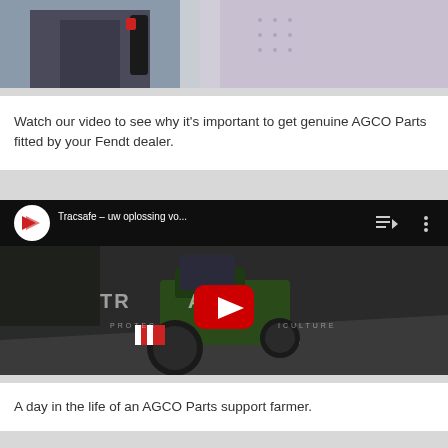[Figure (screenshot): Partial top screenshot of a video showing two people, one in a suit, with a red and black object visible, cropped at the top of the page]
Watch our video to see why it's important to get genuine AGCO Parts fitted by your Fendt dealer.
[Figure (screenshot): YouTube video thumbnail for 'Tracsafe – uw oplossing vo...' showing a tractor on a road with TRACSAFE branding and PROTECTING AGRICULTURE text, dark overlay with red YouTube play button]
A day in the life of an AGCO Parts support farmer.